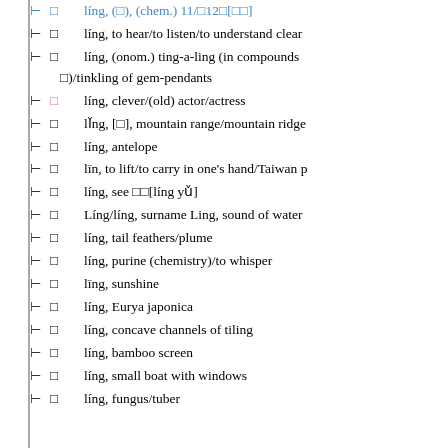líng, [□], (chem.) 11/-12□[□□]
líng, to hear/to listen/to understand clearly
líng, (onom.) ting-a-ling (in compounds □)/tinkling of gem-pendants
líng, clever/(old) actor/actress
lǐng, [□], mountain range/mountain ridge
líng, antelope
līn, to lift/to carry in one's hand/Taiwan pr.
líng, see □□[líng yǔ]
Líng/líng, surname Ling, sound of water
líng, tail feathers/plume
líng, purine (chemistry)/to whisper
līng, sunshine
líng, Eurya japonica
líng, concave channels of tiling
líng, bamboo screen
líng, small boat with windows
líng, fungus/tuber